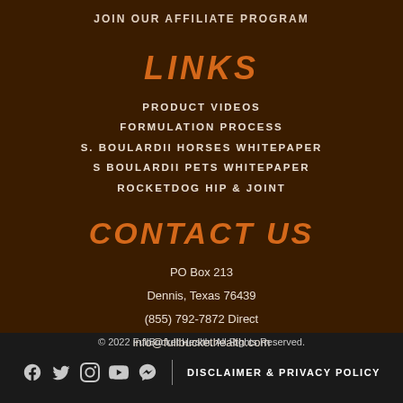JOIN OUR AFFILIATE PROGRAM
LINKS
PRODUCT VIDEOS
FORMULATION PROCESS
S. BOULARDII HORSES WHITEPAPER
S BOULARDII PETS WHITEPAPER
ROCKETDOG HIP & JOINT
CONTACT US
PO Box 213
Dennis, Texas 76439
(855) 792-7872 Direct
info@fullbuckethealth.com
© 2022 FullBucket Health. All Rights Reserved.
DISCLAIMER & PRIVACY POLICY